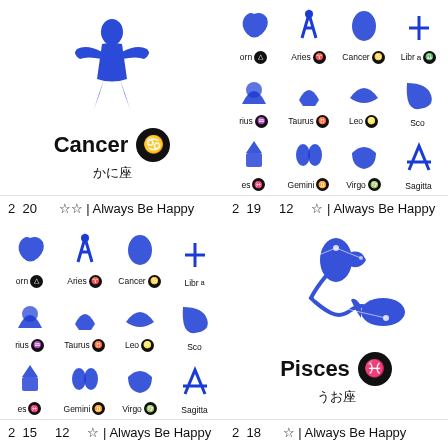[Figure (illustration): Cancer zodiac sign featured with constellation art and Japanese text かに座]
[Figure (illustration): Grid of zodiac signs: Capricorn, Aries, Cancer, Libra, Aquarius, Taurus, Leo, Scorpio, Pisces, Gemini, Virgo, Sagittarius]
2  20    ☆☆ | Always Be Happy
2  19    12   ☆ | Always Be Happy
[Figure (illustration): Grid of zodiac signs: Capricorn, Aries, Cancer, Libra, Aquarius, Taurus, Leo, Scorpio, Pisces, Gemini, Virgo, Sagittarius]
[Figure (illustration): Pisces zodiac sign featured with constellation art and Japanese text うお座]
2  15    12   ☆ | Always Be Happy
2  18    ☆ | Always Be Happy